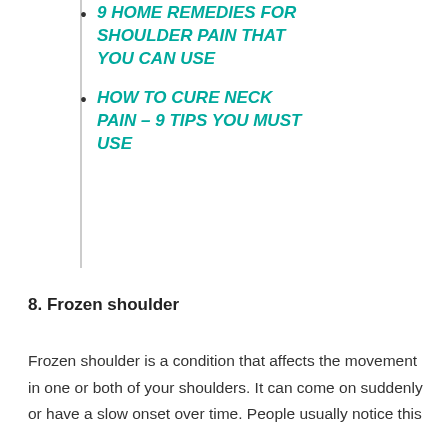9 HOME REMEDIES FOR SHOULDER PAIN THAT YOU CAN USE
HOW TO CURE NECK PAIN – 9 TIPS YOU MUST USE
8. Frozen shoulder
Frozen shoulder is a condition that affects the movement in one or both of your shoulders. It can come on suddenly or have a slow onset over time. People usually notice this